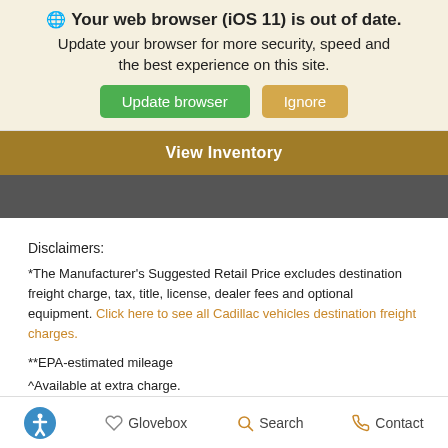Your web browser (iOS 11) is out of date. Update your browser for more security, speed and the best experience on this site.
Update browser | Ignore
View Inventory
Disclaimers:
*The Manufacturer's Suggested Retail Price excludes destination freight charge, tax, title, license, dealer fees and optional equipment. Click here to see all Cadillac vehicles destination freight charges.
**EPA-estimated mileage
^Available at extra charge.
Glovebox  Search  Contact